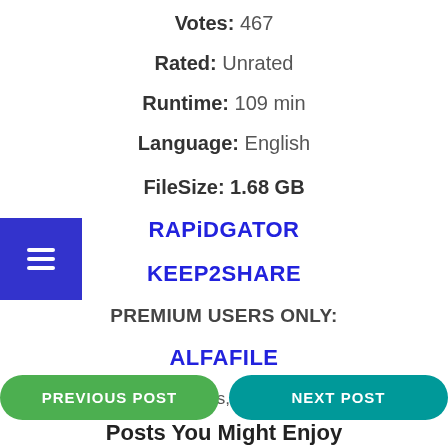Votes: 467
Rated: Unrated
Runtime: 109 min
Language: English
FileSize: 1.68 GB
RAPiDGATOR
KEEP2SHARE
PREMIUM USERS ONLY:
ALFAFILE
(Visited 5 times, 1 visits today)
PREVIOUS POST
NEXT POST
Posts You Might Enjoy